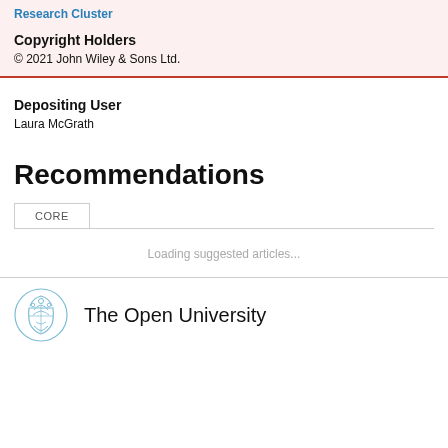Research Cluster
Copyright Holders
© 2021 John Wiley & Sons Ltd.
Depositing User
Laura McGrath
Recommendations
CORE
Loading suggested articles...
[Figure (logo): The Open University crest logo in light blue]
The Open University